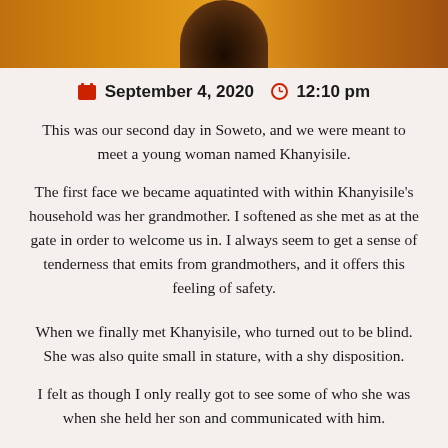[Figure (photo): Top portion of a person's head with brown/dark hair against a warm golden-orange background, cropped at the top of the page]
September 4, 2020   12:10 pm
This was our second day in Soweto, and we were meant to meet a young woman named Khanyisile.
The first face we became aquatinted with within Khanyisile's household was her grandmother. I softened as she met as at the gate in order to welcome us in. I always seem to get a sense of tenderness that emits from grandmothers, and it offers this feeling of safety.
When we finally met Khanyisile, who turned out to be blind. She was also quite small in stature, with a shy disposition.
I felt as though I only really got to see some of who she was when she held her son and communicated with him.